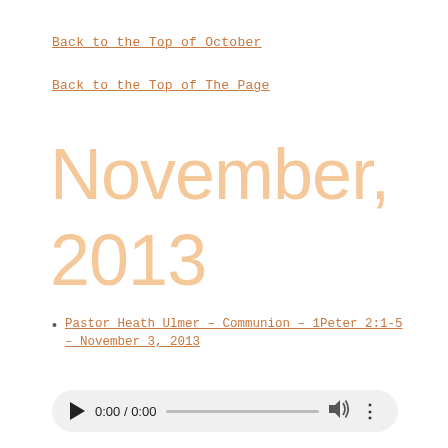Back to the Top of October
Back to the Top of The Page
November,
2013
Pastor Heath Ulmer – Communion – 1Peter 2:1-5 – November 3, 2013
[Figure (other): Audio player control with play button, time display 0:00 / 0:00, progress bar, volume icon, and more options button]